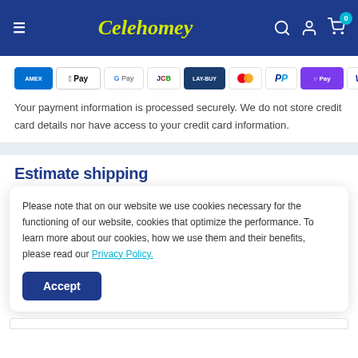Celehomey — navigation header with hamburger menu, logo, search, account, and cart icons
[Figure (other): Payment method icons: AMEX, Apple Pay, Google Pay, JCB, LAY-BUY, Mastercard, PayPal, OPay, VISA]
Your payment information is processed securely. We do not store credit card details nor have access to your credit card information.
Estimate shipping
Please note that on our website we use cookies necessary for the functioning of our website, cookies that optimize the performance. To learn more about our cookies, how we use them and their benefits, please read our Privacy Policy.